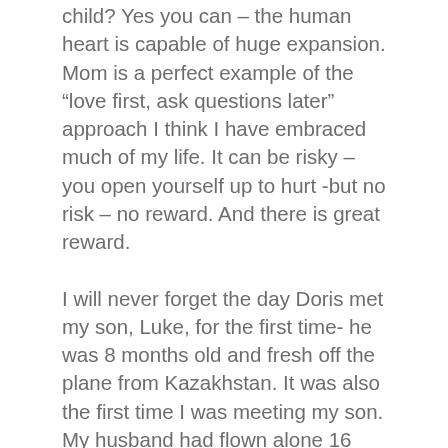child? Yes you can – the human heart is capable of huge expansion. Mom is a perfect example of the “love first, ask questions later” approach I think I have embraced much of my life. It can be risky – you open yourself up to hurt -but no risk – no reward. And there is great reward.
I will never forget the day Doris met my son, Luke, for the first time- he was 8 months old and fresh off the plane from Kazakhstan. It was also the first time I was meeting my son. My husband had flown alone 16 days earlier to Kazakhstan to adopt our baby boy and was arriving at the airport early in the morning. My in-laws had arrived at the airport before I did. I was with my own mom and step-dad and I think I may have been their anchor from the anxiety and